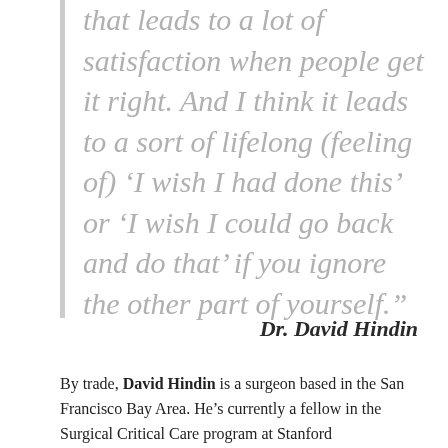that leads to a lot of satisfaction when people get it right. And I think it leads to a sort of lifelong (feeling of) 'I wish I had done this' or 'I wish I could go back and do that' if you ignore the other part of yourself."
Dr. David Hindin
By trade, David Hindin is a surgeon based in the San Francisco Bay Area. He's currently a fellow in the Surgical Critical Care program at Stanford